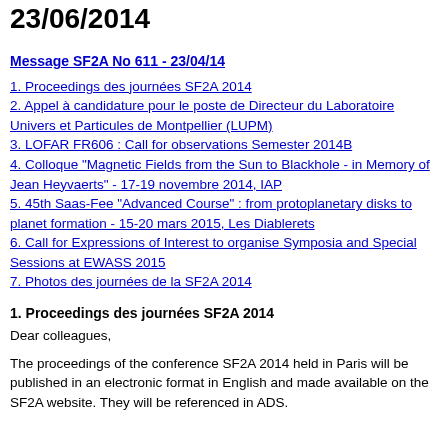23/06/2014
Message SF2A No 611 - 23/04/14
1. Proceedings des journées SF2A 2014
2. Appel à candidature pour le poste de Directeur du Laboratoire Univers et Particules de Montpellier (LUPM)
3. LOFAR FR606 : Call for observations Semester 2014B
4. Colloque "Magnetic Fields from the Sun to Blackhole - in Memory of Jean Heyvaerts" - 17-19 novembre 2014, IAP
5. 45th Saas-Fee "Advanced Course" : from protoplanetary disks to planet formation - 15-20 mars 2015, Les Diablerets
6. Call for Expressions of Interest to organise Symposia and Special Sessions at EWASS 2015
7. Photos des journées de la SF2A 2014
1. Proceedings des journées SF2A 2014
Dear colleagues,
The proceedings of the conference SF2A 2014 held in Paris will be published in an electronic format in English and made available on the SF2A website. They will be referenced in ADS.